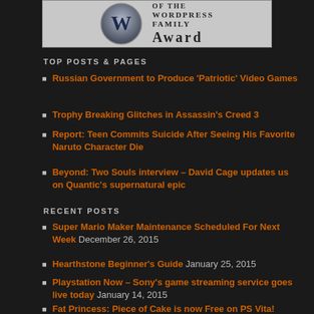[Figure (logo): WordPress Family Award badge with WordPress logo and text 'OF THE WORDPRESS FAMILY AWARD']
TOP POSTS & PAGES
Russian Government to Produce 'Patriotic' Video Games
Trophy Breaking Glitches in Assassin's Creed 3
Report: Teen Commits Suicide After Seeing His Favorite Naruto Character Die
Beyond: Two Souls interview – David Cage updates us on Quantic's supernatural epic
RECENT POSTS
Super Mario Maker Maintenance Scheduled For Next Week December 26, 2015
Hearthstone Beginner's Guide January 25, 2015
Playstation Now – Sony's game streaming service goes live today January 14, 2015
Fat Princess: Piece of Cake is now Free on PS Vita!